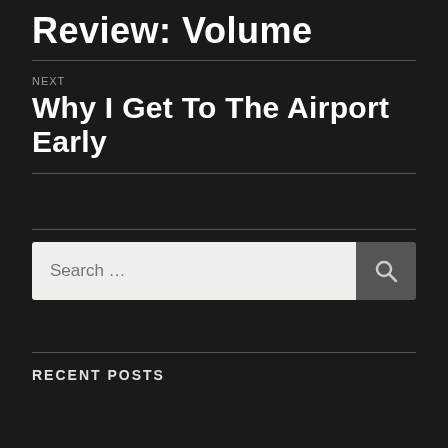Review: Volume
NEXT
Why I Get To The Airport Early
Search …
RECENT POSTS